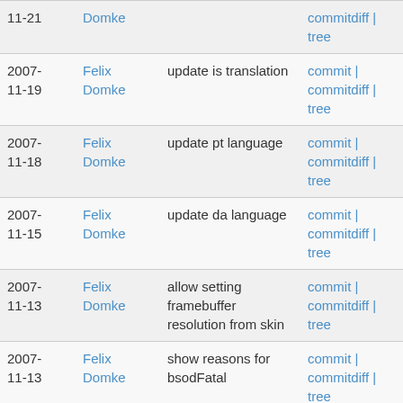| Date | Author | Message | Links |
| --- | --- | --- | --- |
| 11-21 | Domke |  | commitdiff | tree |
| 2007-11-19 | Felix Domke | update is translation | commit | commitdiff | tree |
| 2007-11-18 | Felix Domke | update pt language | commit | commitdiff | tree |
| 2007-11-15 | Felix Domke | update da language | commit | commitdiff | tree |
| 2007-11-13 | Felix Domke | allow setting framebuffer resolution from skin | commit | commitdiff | tree |
| 2007-11-13 | Felix Domke | show reasons for bsodFatal | commit | commitdiff | tree |